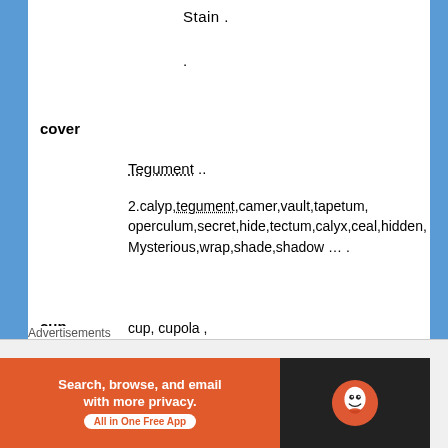Stain .
.
cover
Tegument ..
2.calyp,tegument,camer,vault,tapetum, operculum,secret,hide,tectum,calyx,ceal,hidden, Mysterious,wrap,shade,shadow … .
cup
cup, cupola , fossa,ditch,depth,groove,fovea,depression,pit,ulcer,i laceration,sulcus , striatum , ischium , notch [unreadable],[unreadable], Nouns jug , mug, bucket, A = B = C = cup , cupola ,
Advertisements
[Figure (screenshot): DuckDuckGo advertisement banner: orange section with 'Search, browse, and email with more privacy. All in One Free App' and black section with DuckDuckGo duck logo]